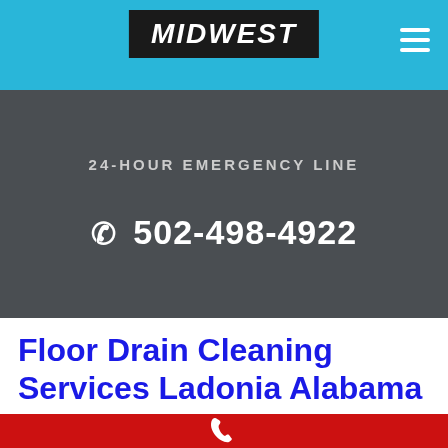MIDWEST
24-HOUR EMERGENCY LINE
✆ 502-498-4922
Floor Drain Cleaning Services Ladonia Alabama
[Figure (other): Red footer bar with white phone icon]